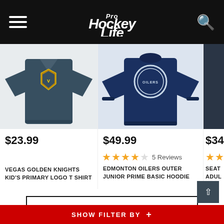Pro Hockey Life - navigation header with hamburger menu and search icon
[Figure (screenshot): Vegas Golden Knights Kid's Primary Logo T-Shirt - dark teal shirt with VGK logo]
$23.99
VEGAS GOLDEN KNIGHTS KID'S PRIMARY LOGO T SHIRT
[Figure (screenshot): Edmonton Oilers Outer Junior Prime Basic Hoodie - navy blue hoodie with Oilers logo]
$49.99
4 out of 5 stars  5 Reviews
EDMONTON OILERS OUTER JUNIOR PRIME BASIC HOODIE
[Figure (screenshot): Seattle partial shirt partially visible on right edge]
$34.
SEAT ADUL SHIR
SHOP ALL NHL CLOTHING
SHOW FILTER BY +